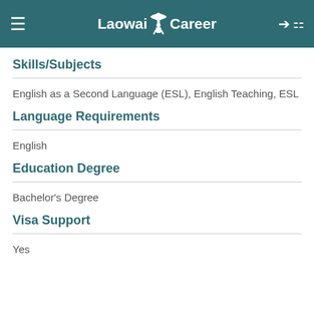Laowai Career
Skills/Subjects
English as a Second Language (ESL), English Teaching, ESL
Language Requirements
English
Education Degree
Bachelor's Degree
Visa Support
Yes